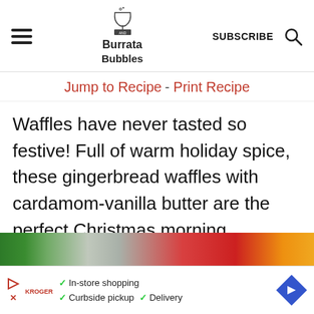Burrata and Bubbles — SUBSCRIBE
Jump to Recipe - Print Recipe
Waffles have never tasted so festive! Full of warm holiday spice, these gingerbread waffles with cardamom-vanilla butter are the perfect Christmas morning breakfast.
[Figure (photo): Close-up photo of colorful Christmas ornaments in green, gray/silver, and red/orange tones]
In-store shopping  Curbside pickup  Delivery